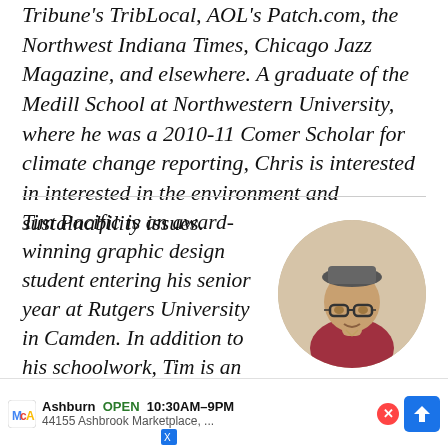Tribune's TribLocal, AOL's Patch.com, the Northwest Indiana Times, Chicago Jazz Magazine, and elsewhere. A graduate of the Medill School at Northwestern University, where he was a 2010-11 Comer Scholar for climate change reporting, Chris is interested in interested in the environment and sustainability issues.
Tim Pacific is an award-winning graphic design student entering his senior year at Rutgers University in Camden. In addition to his schoolwork, Tim is an active freelance illustrator. His work can be seen in AIGA Philadelphia's SPACE, which features a recently compiled... among his de... hat
[Figure (photo): Circular profile photo of Tim Pacific, a young man wearing glasses and a flat-brim cap, in a red/maroon shirt, with a light background.]